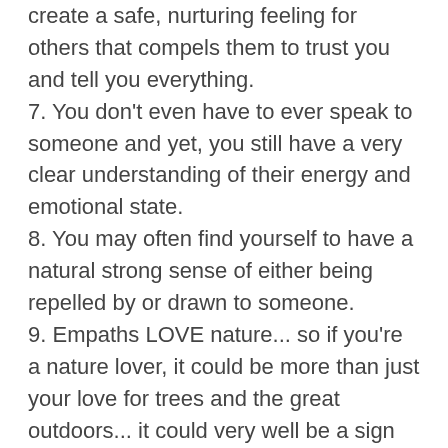create a safe, nurturing feeling for others that compels them to trust you and tell you everything.
7. You don't even have to ever speak to someone and yet, you still have a very clear understanding of their energy and emotional state.
8. You may often find yourself to have a natural strong sense of either being repelled by or drawn to someone.
9. Empaths LOVE nature... so if you're a nature lover, it could be more than just your love for trees and the great outdoors... it could very well be a sign that you're an empath!
10. It's difficult to surprise you. You have a sense of authenticity, and because of this, you are very rarely shocked or surprised by anything.
11. There's no getting anything past you! You always know not only when someone is lying, but also the reason behind the lie they are telling.
12. You're a peacemaker, the one that everyone is